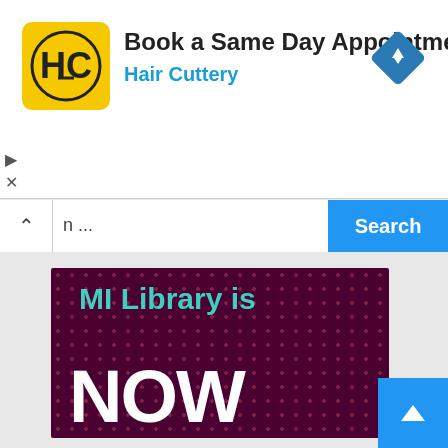[Figure (screenshot): Hair Cuttery advertisement banner with logo and 'Book a Same Day Appointment' text]
Book a Same Day Appointment
Hair Cuttery
n ...
Search
[Figure (illustration): MI Library is NOW promotional banner with dark maroon background, teal and white text, and halftone dot pattern]